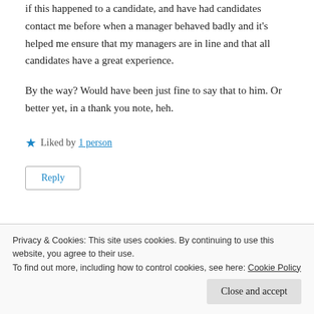if this happened to a candidate, and have had candidates contact me before when a manager behaved badly and it's helped me ensure that my managers are in line and that all candidates have a great experience.
By the way? Would have been just fine to say that to him. Or better yet, in a thank you note, heh.
★ Liked by 1 person
Reply
Privacy & Cookies: This site uses cookies. By continuing to use this website, you agree to their use.
To find out more, including how to control cookies, see here: Cookie Policy